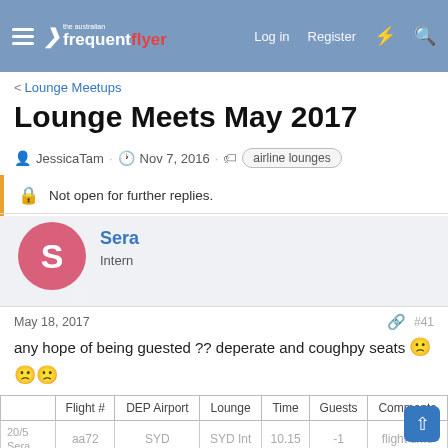the australian frequent flyer — Log in  Register
< Lounge Meetups
Lounge Meets May 2017
JessicaTam · Nov 7, 2016 · airline lounges
Not open for further replies.
Sera
Intern
May 18, 2017  #41
any hope of being guested ?? deperate and coughpy seats 🙁 🙁 🙁
|  | Flight # | DEP Airport | Lounge | Time | Guests | Comments |
| --- | --- | --- | --- | --- | --- | --- |
| 20/5
Sera | aa72 | SYD | SYD Int | 10.15 | -1 | flight time |